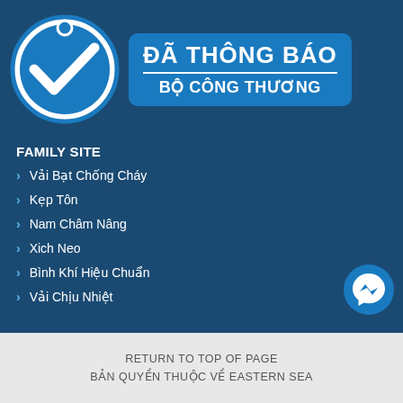[Figure (logo): Vietnamese Ministry of Industry and Trade notification badge. Circular checkmark logo on left, blue rounded rectangle with text 'ĐÃ THÔNG BÁO' and 'BỘ CÔNG THƯƠNG' on right.]
FAMILY SITE
Vải Bạt Chống Cháy
Kẹp Tôn
Nam Châm Nâng
Xich Neo
Bình Khí Hiệu Chuẩn
Vải Chịu Nhiệt
[Figure (logo): Messenger chat button icon — blue circle with white lightning bolt messenger logo]
RETURN TO TOP OF PAGE
BẢN QUYỀN THUỘC VỀ EASTERN SEA